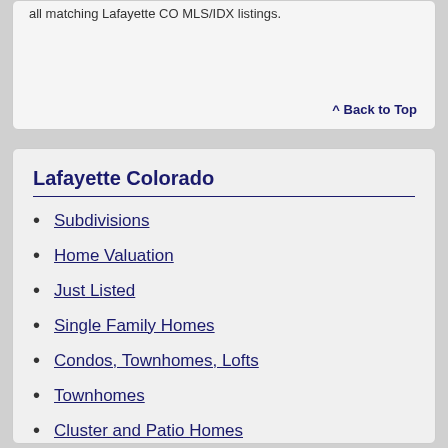all matching Lafayette CO MLS/IDX listings.
^ Back to Top
Lafayette Colorado
Subdivisions
Home Valuation
Just Listed
Single Family Homes
Condos, Townhomes, Lofts
Townhomes
Cluster and Patio Homes
Ranch One Story Homes